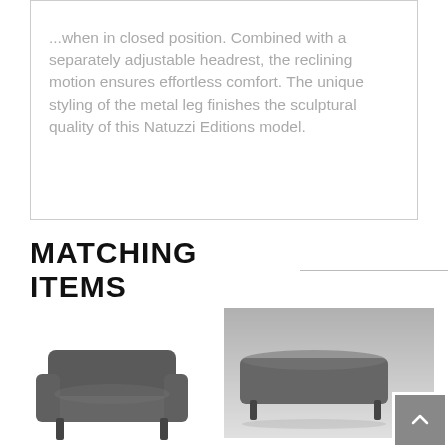...when in closed position. Combined with a separately adjustable headrest, the reclining motion ensures effortless comfort. The unique styling of the metal leg finishes the sculptural quality of this Natuzzi Editions model.
MATCHING ITEMS
[Figure (photo): A dark grey leather armchair with wide square arms, photographed from a slightly elevated angle against a white background.]
[Figure (photo): A dark grey leather ottoman/footstool with metal legs, photographed against a light grey gradient background. A scroll-to-top button is overlaid in the bottom right corner of the image.]